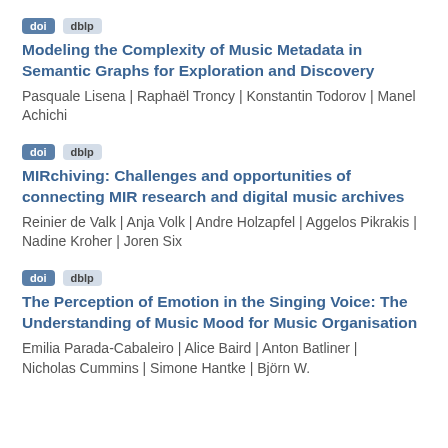doi | dblp
Modeling the Complexity of Music Metadata in Semantic Graphs for Exploration and Discovery
Pasquale Lisena | Raphaël Troncy | Konstantin Todorov | Manel Achichi
doi | dblp
MIRchiving: Challenges and opportunities of connecting MIR research and digital music archives
Reinier de Valk | Anja Volk | Andre Holzapfel | Aggelos Pikrakis | Nadine Kroher | Joren Six
doi | dblp
The Perception of Emotion in the Singing Voice: The Understanding of Music Mood for Music Organisation
Emilia Parada-Cabaleiro | Alice Baird | Anton Batliner | Nicholas Cummins | Simone Hantke | Björn W.